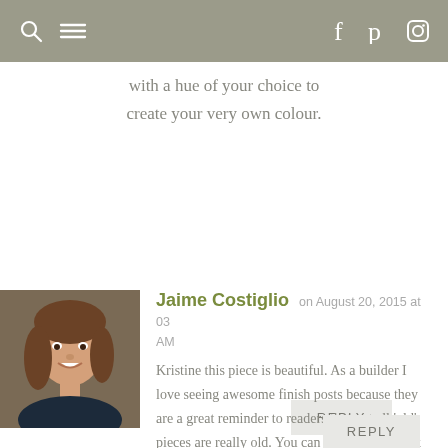with a hue of your choice to create your very own colour.
REPLY
[Figure (photo): Headshot photo of a woman with shoulder-length brown hair, smiling, wearing a dark jacket, outdoor background]
Jaime Costiglio on August 20, 2015 at 03 AM
Kristine this piece is beautiful. As a builder I love seeing awesome finish posts because they are a great reminder to readers that not all 'old' pieces are really old. You can recreate that look and you are proof. Thank you for such a wonderful tutorial.
REPLY